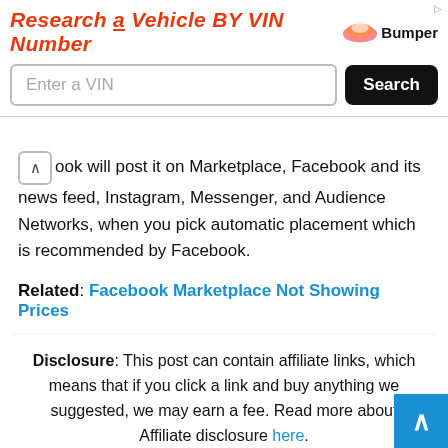[Figure (screenshot): Advertisement banner for Bumper VIN lookup tool. Shows 'Research a Vehicle BY VIN Number' in orange italic text with Bumper logo, an input field 'Enter a VIN' and a black Search button.]
ook will post it on Marketplace, Facebook and its news feed, Instagram, Messenger, and Audience Networks, when you pick automatic placement which is recommended by Facebook.
Related: Facebook Marketplace Not Showing Prices
Disclosure: This post can contain affiliate links, which means that if you click a link and buy anything we suggested, we may earn a fee. Read more about Affiliate disclosure here.
We believe and sincerely hope that this post was helpful to you, please show your support by sharing it with your families, acquaintances, friends, and relatives who might be in a dire